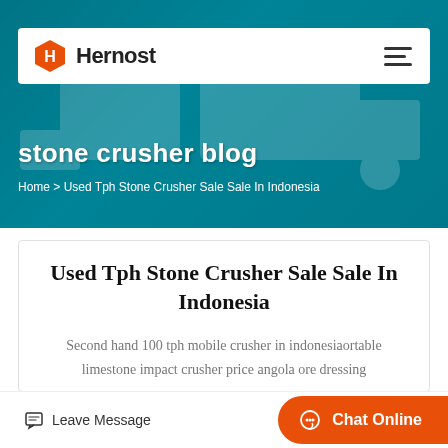[Figure (logo): Hernost logo with orange hexagon icon and bold black text]
stone crusher blog
Home > Used Tph Stone Crusher Sale Sale In Indonesia
Used Tph Stone Crusher Sale Sale In Indonesia
Second hand 100 tph mobile crusher in indonesiaortable limestone impact crusher price angola ore dressing